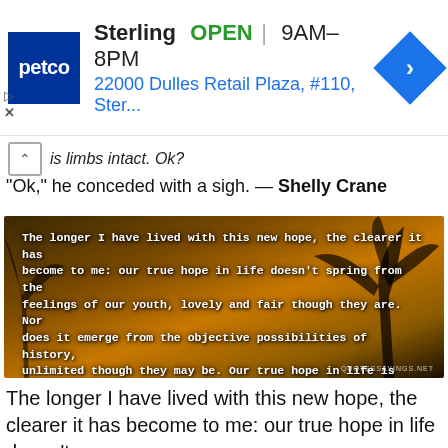[Figure (screenshot): Petco ad banner showing Sterling store, OPEN 9AM–8PM, address 22000 Dulles Retail Plaza, #110, Ster...]
is limbs intact. Ok?
"Ok," he conceded with a sigh. — Shelly Crane
[Figure (photo): Dark sunset background with palm tree silhouettes and white bold text quote by Jurgen Moltmann about hope. Watermark: QUOTESSAYINGS.NET]
The longer I have lived with this new hope, the clearer it has become to me: our true hope in life doesn't